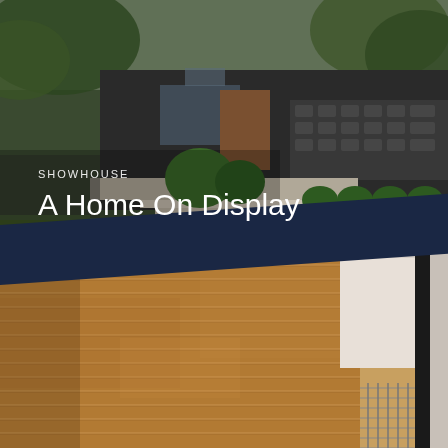[Figure (photo): Exterior front view of a modern single-story house with dark siding, large windows, concrete planter walls, lush landscaping with greenery and shaped shrubs, and a stepping stone pathway.]
SHOWHOUSE
A Home On Display
[Figure (photo): Close-up architectural detail of a modern house exterior featuring horizontal warm-toned cedar wood siding panels, white eave/soffit, and a metal column or railing element, with a blue accent band visible above.]